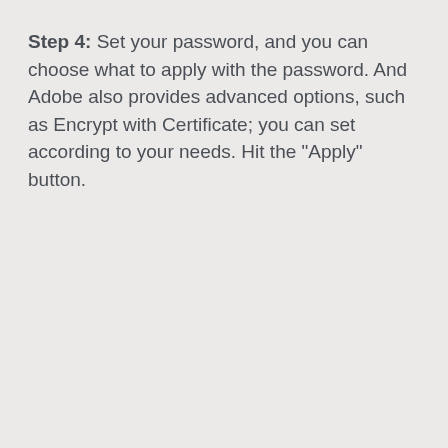Step 4: Set your password, and you can choose what to apply with the password. And Adobe also provides advanced options, such as Encrypt with Certificate; you can set according to your needs. Hit the "Apply" button.